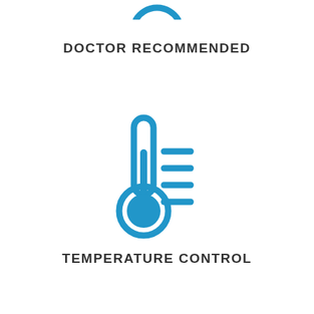[Figure (illustration): Partial blue circular arc icon at the top of the page (doctor recommended icon, cropped at top edge)]
DOCTOR RECOMMENDED
[Figure (illustration): Blue thermometer icon with horizontal bar lines indicating heat/temperature levels to the right side]
TEMPERATURE CONTROL